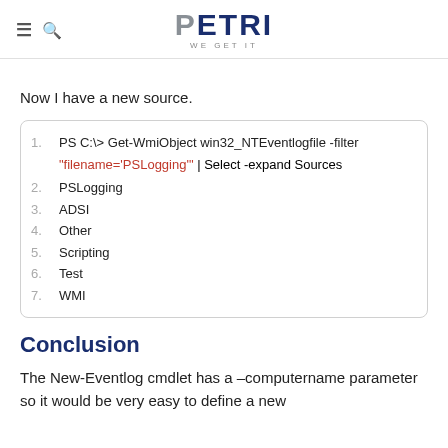PETRI WE GET IT
Now I have a new source.
[Figure (screenshot): Code block showing numbered PowerShell command output: 1. PS C:\> Get-WmiObject win32_NTEventlogfile -filter "filename='PSLogging'" | Select -expand Sources, 2. PSLogging, 3. ADSI, 4. Other, 5. Scripting, 6. Test, 7. WMI]
Conclusion
The New-Eventlog cmdlet has a –computername parameter so it would be very easy to define a new